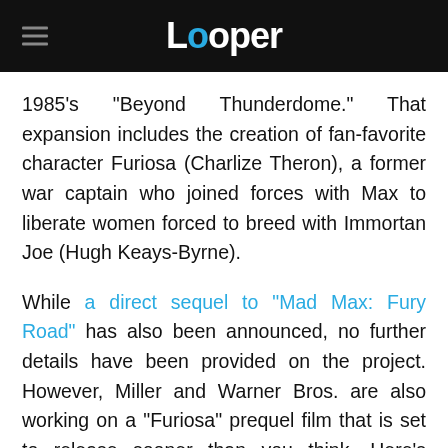Looper
1985's "Beyond Thunderdome." That expansion includes the creation of fan-favorite character Furiosa (Charlize Theron), a former war captain who joined forces with Max to liberate women forced to breed with Immortan Joe (Hugh Keays-Byrne).
While a direct sequel to "Mad Max: Fury Road" has also been announced, no further details have been provided on the project. However, Miller and Warner Bros. are also working on a "Furiosa" prequel film that is set to release sooner than you think. Here's everything we know so far.